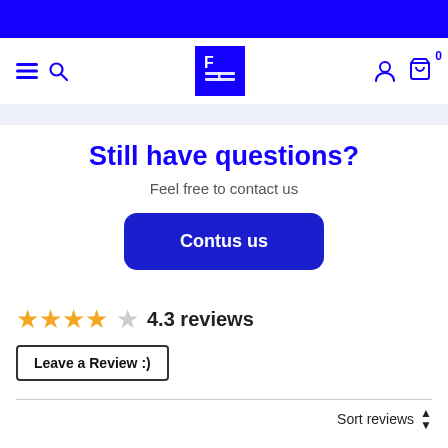[Figure (logo): Blue square logo with white 'F' and grid/table icon]
Still have questions?
Feel free to contact us
Contus us
4.3 reviews
Leave a Review :)
Sort reviews